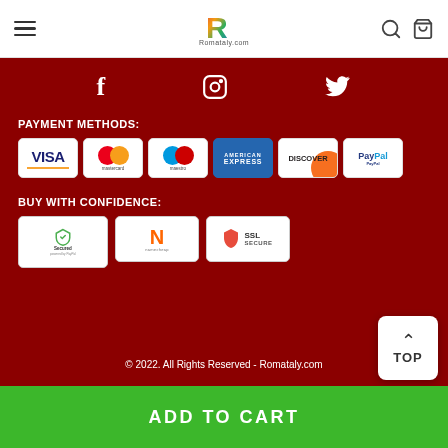Romataly.com navigation header with hamburger menu, logo, search and cart icons
[Figure (logo): Romataly.com logo with colorful R letter and site name below]
[Figure (infographic): Social media icons: Facebook (f), Instagram, Twitter on dark red background]
PAYMENT METHODS:
[Figure (infographic): Payment method badges: Visa, Mastercard, Maestro, American Express, Discover, PayPal]
BUY WITH CONFIDENCE:
[Figure (infographic): Trust badges: Secured by PayPal, Namecheap, SSL Secure]
© 2022. All Rights Reserved - Romataly.com
ADD TO CART